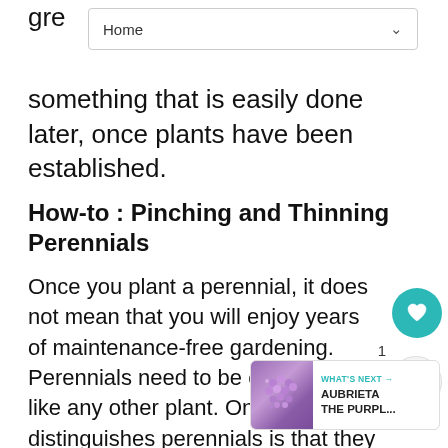Home
gre something that is easily done later, once plants have been established.
How-to : Pinching and Thinning Perennials
Once you plant a perennial, it does not mean that you will enjoy years of maintenance-free gardening. Perennials need to be cared for just like any other plant. One thing that distinguishes perennials is that they tend to be active growers that have to be thinned out occasionally or they will loose vigor.
[Figure (other): Heart/like button (teal circle with heart icon) showing count of 1, and a share button below it]
[Figure (other): What's Next panel showing a purple flower thumbnail with text 'WHAT'S NEXT → AUBRIETA THE PURPL...']